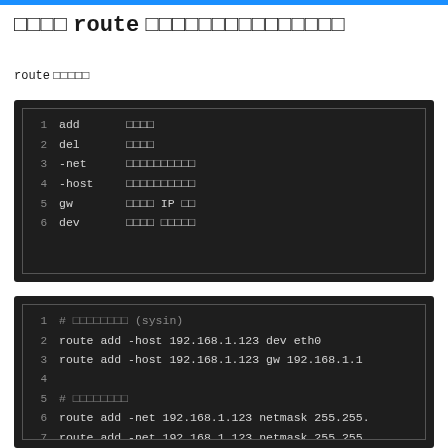□□□□ route □□□□□□□□□□□□□□□
route □□□□□
[Figure (screenshot): Code block showing route command options: 1 add □□□□, 2 del □□□□, 3 -net □□□□□□□□□□, 4 -host □□□□□□□□□□, 5 gw □□□□ IP □□, 6 dev □□□□ □□□□□]
[Figure (screenshot): Code block showing route command examples: 1 # □□□□□□□□ (sysin), 2 route add -host 192.168.1.123 dev eth0, 3 route add -host 192.168.1.123 gw 192.168.1.1, 4 (blank), 5 # □□□□□□□□, 6 route add -net 192.168.1.123 netmask 255.255., 7 route add -net 192.168.1.123 netmask 255.255., 8 route add -net 192.168.1.123 ... netmask 255.255.]